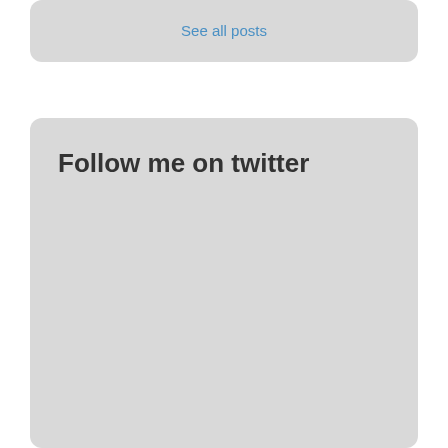See all posts
Follow me on twitter